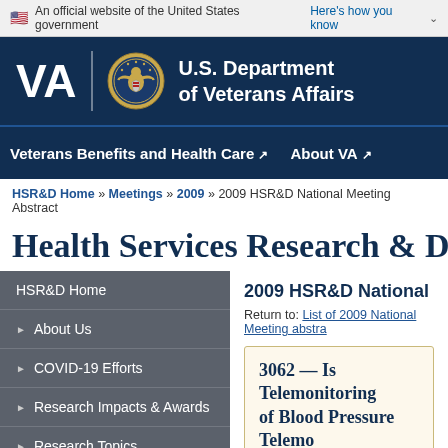An official website of the United States government Here's how you know
[Figure (logo): VA U.S. Department of Veterans Affairs logo with seal]
Veterans Benefits and Health Care  About VA
HSR&D Home » Meetings » 2009 » 2009 HSR&D National Meeting Abstract
Health Services Research & Deve
HSR&D Home
About Us
COVID-19 Efforts
Research Impacts & Awards
Research Topics
Career Development Program
Centers and Research Networks
2009 HSR&D National M
Return to: List of 2009 National Meeting abstra
3062 — Is Telemonitoring... of Blood Pressure Telemo... Pressure Control